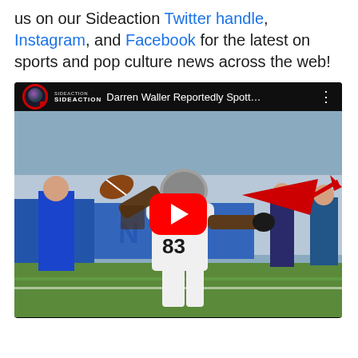us on our Sideaction Twitter handle, Instagram, and Facebook for the latest on sports and pop culture news across the web!
[Figure (screenshot): YouTube video embed showing a football player (wearing Raiders #83 jersey, Darren Waller) celebrating a catch, with a red arrow pointing to something in the background. Video title reads 'Darren Waller Reportedly Spott...' with Sideaction channel branding and a red YouTube play button overlay.]